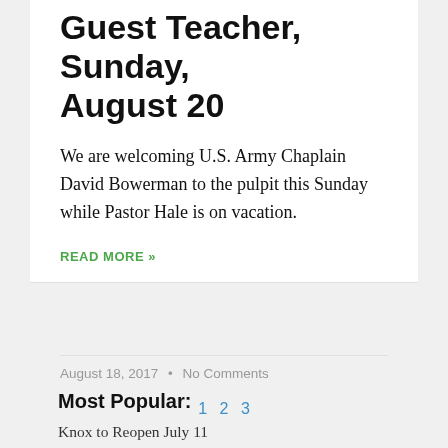Guest Teacher, Sunday, August 20
We are welcoming U.S. Army Chaplain David Bowerman to the pulpit this Sunday while Pastor Hale is on vacation.
READ MORE »
August 18, 2017  •  No Comments
1  2  3
Most Popular:
Knox to Reopen July 11
Read More »